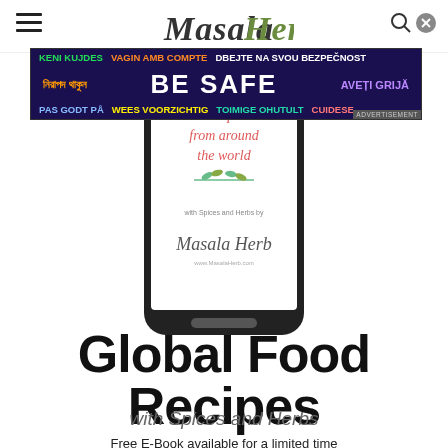Masala Herb — site header with hamburger menu, logo, and search icon
[Figure (infographic): Safety advertisement banner with multilingual 'BE SAFE' message in colorful text on dark background]
[Figure (illustration): Smartphone displaying 'Recipes from around the world with Spices and Herbs by Masala Herb' e-book cover]
Global Food Recipes
with Spices and Herbs
Free E-Book available for a limited time